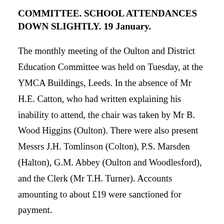COMMITTEE. SCHOOL ATTENDANCES DOWN SLIGHTLY. 19 January.
The monthly meeting of the Oulton and District Education Committee was held on Tuesday, at the YMCA Buildings, Leeds. In the absence of Mr H.E. Catton, who had written explaining his inability to attend, the chair was taken by Mr B. Wood Higgins (Oulton). There were also present Messrs J.H. Tomlinson (Colton), P.S. Marsden (Halton), G.M. Abbey (Oulton and Woodlesford), and the Clerk (Mr T.H. Turner). Accounts amounting to about £19 were sanctioned for payment.
The Clerk read the following percentages of attendances above...